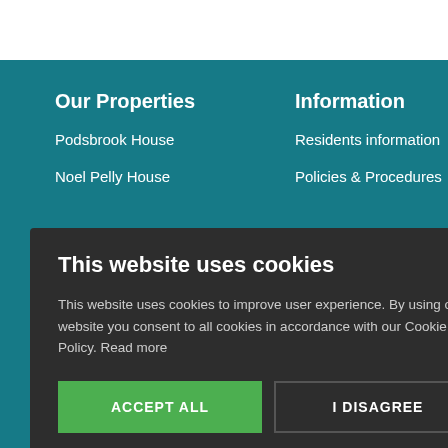Our Properties
Podsbrook House
Noel Pelly House
Information
Residents information
Policies & Procedures
kie Policy
with the Homes and
munity Benefit
red Office: Podsbrook
[Figure (screenshot): Cookie consent modal dialog with dark background. Title: 'This website uses cookies'. Body text: 'This website uses cookies to improve user experience. By using our website you consent to all cookies in accordance with our Cookie Policy. Read more'. Two buttons: 'ACCEPT ALL' (green) and 'I DISAGREE' (outlined). Footer: gear icon + 'SHOW DETAILS'. Close button (×) in top right.]